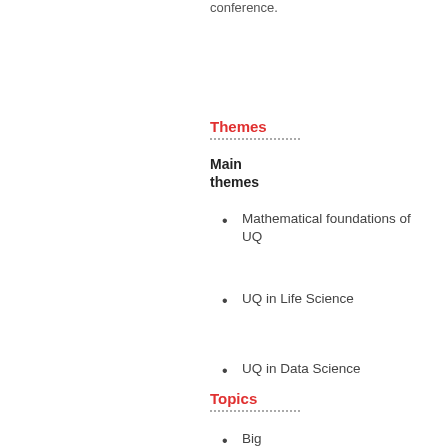conference.
Themes
Main themes
Mathematical foundations of UQ
UQ in Life Science
UQ in Data Science
Topics
Big